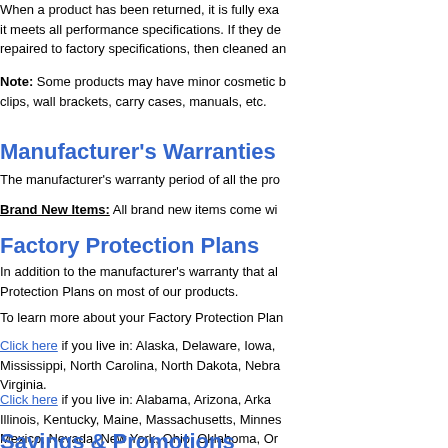When a product has been returned, it is fully exa it meets all performance specifications. If they de repaired to factory specifications, then cleaned an
Note: Some products may have minor cosmetic b clips, wall brackets, carry cases, manuals, etc.
Manufacturer’s Warranties
The manufacturer’s warranty period of all the pro
Brand New Items: All brand new items come wi
Factory Protection Plans
In addition to the manufacturer’s warranty that al Protection Plans on most of our products.
To learn more about your Factory Protection Plan
Click here if you live in: Alaska, Delaware, Iowa, Mississippi, North Carolina, North Dakota, Nebra Virginia.
Click here if you live in: Alabama, Arizona, Arka Illinois, Kentucky, Maine, Massachusetts, Minnes Mexico, Nevada, New York, Ohio, Oklahoma, Or Washington, Wisconsin, Wyoming.
Savings & Promotions